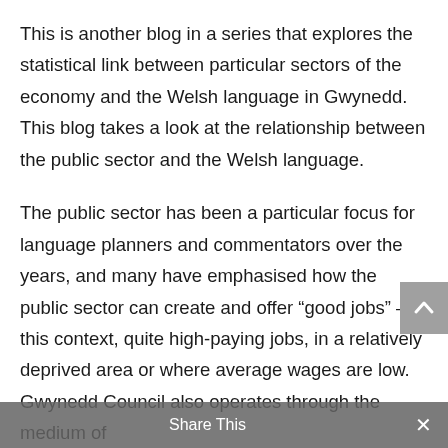This is another blog in a series that explores the statistical link between particular sectors of the economy and the Welsh language in Gwynedd. This blog takes a look at the relationship between the public sector and the Welsh language.
The public sector has been a particular focus for language planners and commentators over the years, and many have emphasised how the public sector can create and offer “good jobs” – in this context, quite high-paying jobs, in a relatively deprived area or where average wages are low. Gwynedd Council also operates through the medium of
[Figure (other): Grey scroll-to-top button with upward chevron arrow]
Share This ✕